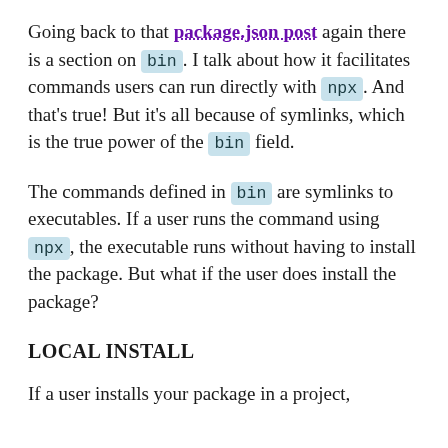Going back to that package.json post again there is a section on bin. I talk about how it facilitates commands users can run directly with npx. And that's true! But it's all because of symlinks, which is the true power of the bin field.
The commands defined in bin are symlinks to executables. If a user runs the command using npx, the executable runs without having to install the package. But what if the user does install the package?
LOCAL INSTALL
If a user installs your package in a project,